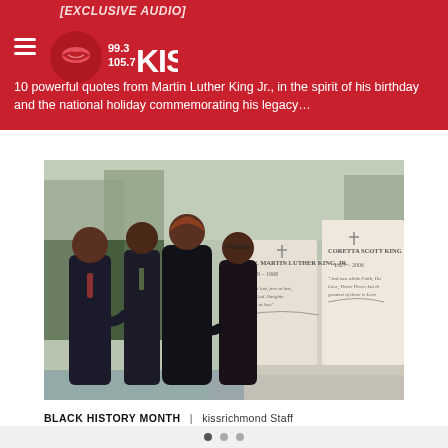[EXCLUSIVE AUDIO] 99.3 / 105.7 KISS — 10 powerful quotes from Martin Luther King Jr., in the spirit of his birthday and the national holiday commemorating his legacy…
[Figure (photo): Four people standing in front of the Martin Luther King Jr. and Coretta Scott King tomb/memorial. The individuals are wearing dark coats. The white stone monument is visible with inscriptions.]
BLACK HISTORY MONTH | kissrichmond Staff
Dr. King Jr.'s Children To Settle Feud Over Bible And Nobel Peace Prize